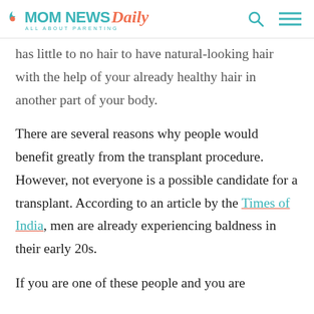MOM NEWS Daily — ALL ABOUT PARENTING
has little to no hair to have natural-looking hair with the help of your already healthy hair in another part of your body.
There are several reasons why people would benefit greatly from the transplant procedure. However, not everyone is a possible candidate for a transplant. According to an article by the Times of India, men are already experiencing baldness in their early 20s.
If you are one of these people and you are